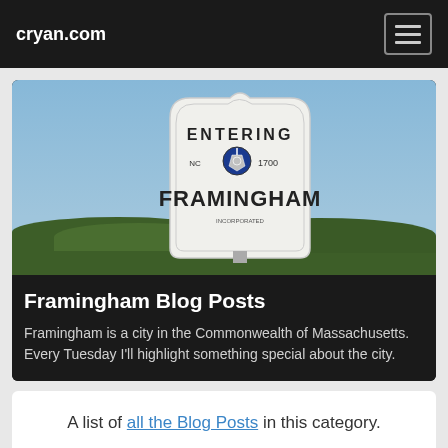cryan.com
[Figure (photo): Photo of an 'Entering Framingham' Massachusetts town sign against a blue sky with green trees in the background. The white sign reads 'ENTERING', has the Massachusetts state seal with '1700', and 'FRAMINGHAM' in large letters.]
Framingham Blog Posts
Framingham is a city in the Commonwealth of Massachusetts. Every Tuesday I'll highlight something special about the city.
A list of all the Blog Posts in this category.